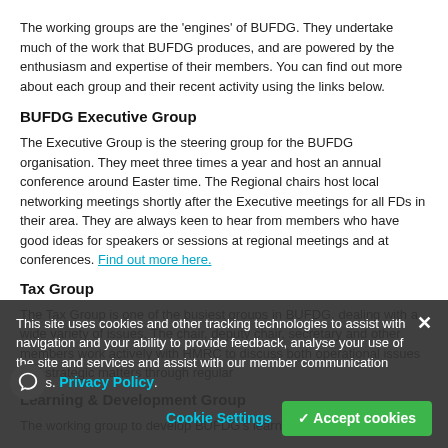The working groups are the 'engines' of BUFDG. They undertake much of the work that BUFDG produces, and are powered by the enthusiasm and expertise of their members. You can find out more about each group and their recent activity using the links below.
BUFDG Executive Group
The Executive Group is the steering group for the BUFDG organisation. They meet three times a year and host an annual conference around Easter time. The Regional chairs host local networking meetings shortly after the Executive meetings for all FDs in their area. They are always keen to hear from members who have good ideas for speakers or sessions at regional meetings and at conferences. Find out more here.
Tax Group
The Tax Group is one of the busiest groups in BUFDG, dealing with a wide variety of issues. The chair, deputy chair, secretary and other members work actively with HMRC to discuss both operational issues and strategic matters through regular
Learning & Development Group
The working group to develop BUFDG's learning and development
This site uses cookies and other tracking technologies to assist with navigation and your ability to provide feedback, analyse your use of the site and services and assist with our member communication efforts. Privacy Policy.